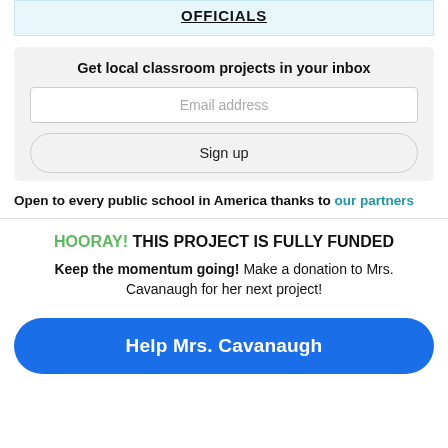OFFICIALS
Get local classroom projects in your inbox
Email address
Sign up
Open to every public school in America thanks to our partners
HOORAY! THIS PROJECT IS FULLY FUNDED
Keep the momentum going! Make a donation to Mrs. Cavanaugh for her next project!
Help Mrs. Cavanaugh